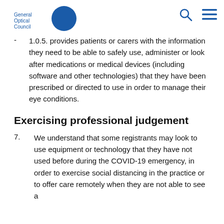General Optical Council
1.0.5. provides patients or carers with the information they need to be able to safely use, administer or look after medications or medical devices (including software and other technologies) that they have been prescribed or directed to use in order to manage their eye conditions.
Exercising professional judgement
7.  We understand that some registrants may look to use equipment or technology that they have not used before during the COVID-19 emergency, in order to exercise social distancing in the practice or to offer care remotely when they are not able to see a